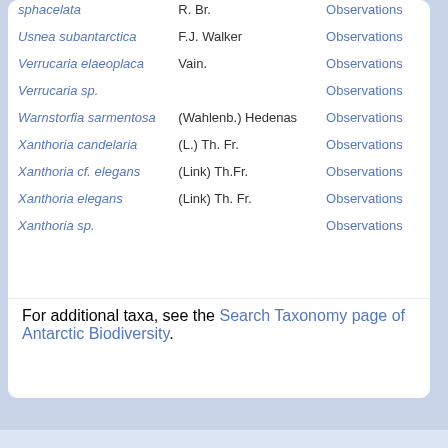| Species | Author | Data |
| --- | --- | --- |
| sphacelata | R. Br. | Observations |
| Usnea subantarctica | F.J. Walker | Observations |
| Verrucaria elaeoplaca | Vain. | Observations |
| Verrucaria sp. |  | Observations |
| Warnstorfia sarmentosa | (Wahlenb.) Hedenas | Observations |
| Xanthoria candelaria | (L.) Th. Fr. | Observations |
| Xanthoria cf. elegans | (Link) Th.Fr. | Observations |
| Xanthoria elegans | (Link) Th. Fr. | Observations |
| Xanthoria sp. |  | Observations |
For additional taxa, see the Search Taxonomy page of Antarctic Biodiversity.